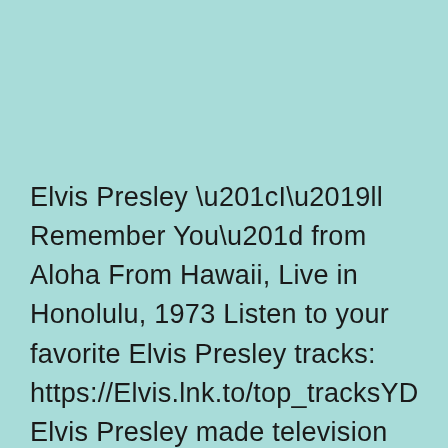Elvis Presley “I’ll Remember You” from Aloha From Hawaii, Live in Honolulu, 1973 Listen to your favorite Elvis Presley tracks: https://Elvis.lnk.to/top_tracksYD Elvis Presley made television and entertainment history with his Elvis, Aloha from Hawaii concert, performed at the Honolulu International Center Arena on January 14, 1973. It was beamed live via Globecam Satellite to various… Continue reading